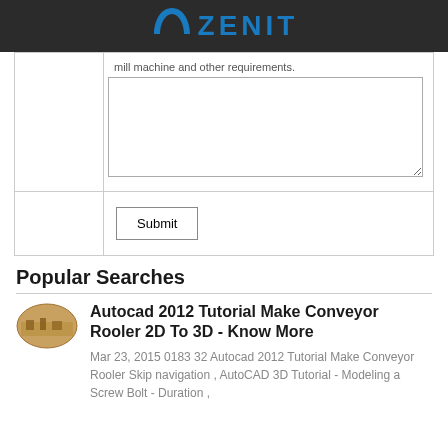ZENIT
|  | mill machine and other requirements. |
|  | Submit |
Popular Searches
[Figure (photo): Thumbnail image of a conveyor or outdoor mining scene]
Autocad 2012 Tutorial Make Conveyor Rooler 2D To 3D - Know More
Mar 23, 2015 0183 32 Autocad 2012 Tutorial Make Conveyor Rooler Skip navigation , AutoCAD 3D Tutorial - Modeling a Screw Bolt - Duration ,